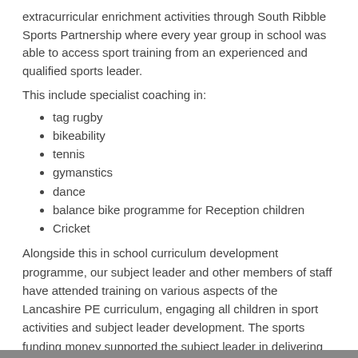extracurricular enrichment activities through South Ribble Sports Partnership where every year group in school was able to access sport training from an experienced and qualified sports leader.
This include specialist coaching in:
tag rugby
bikeability
tennis
gymanstics
dance
balance bike programme for Reception children
Cricket
Alongside this in school curriculum development programme, our subject leader and other members of staff have attended training on various aspects of the Lancashire PE curriculum, engaging all children in sport activities and subject leader development. The sports funding money supported the subject leader in delivering this information to the whole school team.